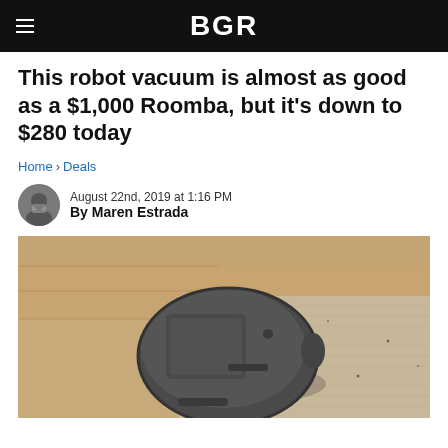BGR
This robot vacuum is almost as good as a $1,000 Roomba, but it's down to $280 today
Home › Deals
August 22nd, 2019 at 1:16 PM
By Maren Estrada
[Figure (photo): A dark grey circular robot vacuum cleaner sitting on a wooden floor next to carpet, viewed from above at an angle.]